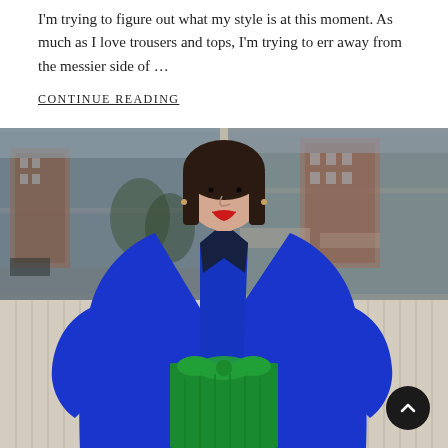I'm trying to figure out what my style is at this moment. As much as I love trousers and tops, I'm trying to err away from the messier side of ...
CONTINUE READING
[Figure (photo): Woman with brown bob haircut and red lips, wearing a bright royal blue oversized coat/blazer, a dark navy top, and green trousers with a bow tie detail, standing on a city street in front of a large window reflecting urban buildings.]